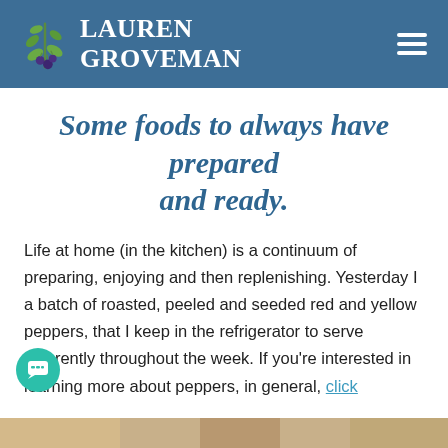Lauren Groveman
Some foods to always have prepared and ready.
Life at home (in the kitchen) is a continuum of preparing, enjoying and then replenishing. Yesterday I a batch of roasted, peeled and seeded red and yellow peppers, that I keep in the refrigerator to serve differently throughout the week. If you're interested in learning more about peppers, in general, click
[Figure (photo): Bottom strip showing a food photograph, partially visible at the bottom of the page.]